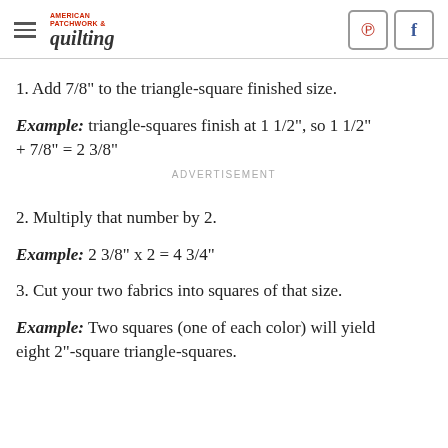American Patchwork & quilting
1. Add 7/8" to the triangle-square finished size.
Example: triangle-squares finish at 1 1/2", so 1 1/2" + 7/8" = 2 3/8"
ADVERTISEMENT
2. Multiply that number by 2.
Example: 2 3/8" x 2 = 4 3/4"
3. Cut your two fabrics into squares of that size.
Example: Two squares (one of each color) will yield eight 2"-square triangle-squares.